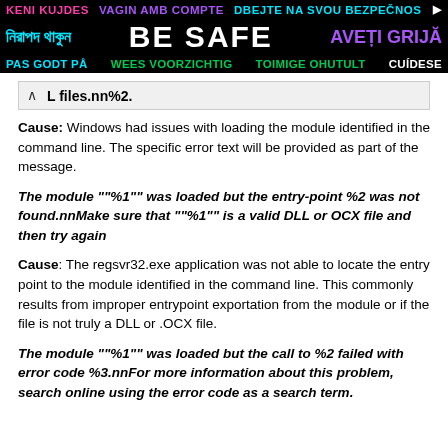[Figure (infographic): Multilingual safety banner with black background. Row 1: 'KENI KUJDES' (pink), 'VAGIN AMB COMPTE' (purple), 'DBEJTE NA SVOU BEZPEČNOS' (cyan/white). Row 2: Bengali text in cyan, 'BE SAFE' in white large font, 'AVEȚI GRIJĂ' in purple. Row 3: 'PAS GODT PÅ' (cyan), 'WEES VOORZICHTIG' (green), 'TOIMIGE OHUTULT' (green), 'CUÍDESE' (white). Arrow icon on right.]
L files.nn%2.
Cause: Windows had issues with loading the module identified in the command line. The specific error text will be provided as part of the message.
The module ""%1"" was loaded but the entry-point %2 was not found.nnMake sure that ""%1"" is a valid DLL or OCX file and then try again
Cause: The regsvr32.exe application was not able to locate the entry point to the module identified in the command line. This commonly results from improper entrypoint exportation from the module or if the file is not truly a DLL or .OCX file.
The module ""%1"" was loaded but the call to %2 failed with error code %3.nnFor more information about this problem, search online using the error code as a search term.